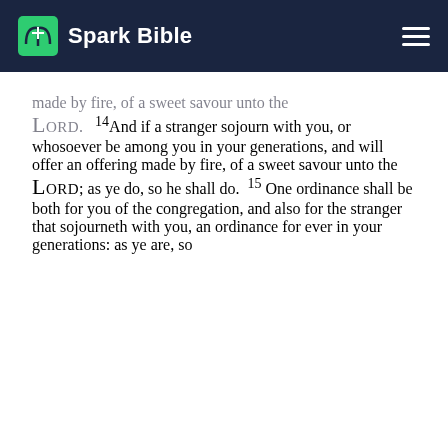Spark Bible
made by fire, of a sweet savour unto the LORD. 14And if a stranger sojourn with you, or whosoever be among you in your generations, and will offer an offering made by fire, of a sweet savour unto the LORD; as ye do, so he shall do. 15One ordinance shall be both for you of the congregation, and also for the stranger that sojourneth with you, an ordinance for ever in your generations: as ye are, so